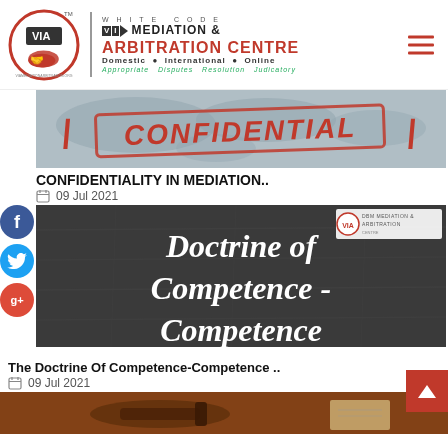[Figure (logo): White Code VIA Mediation and Arbitration Centre logo with circular emblem showing handshake, brand name, tagline: Domestic, International, Online, Appropriate Disputes Resolution Judicatory]
[Figure (photo): World map background with a red CONFIDENTIAL stamp/text overlay]
CONFIDENTIALITY IN MEDIATION..
09 Jul 2021
[Figure (photo): Dark stone texture background with white bold text: Doctrine of Competence - Competence, with VIA Mediation & Arbitration Centre logo in top right corner]
The Doctrine Of Competence-Competence ..
09 Jul 2021
[Figure (photo): Judge gavel on wooden surface with legal documents, partially visible at bottom of page]